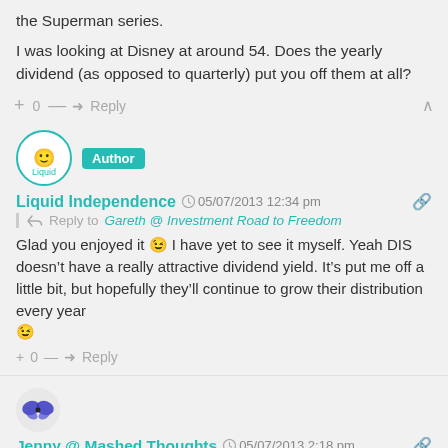the Superman series.
I was looking at Disney at around 54. Does the yearly dividend (as opposed to quarterly) put you off them at all?
+ 0 — → Reply ^
Liquid Independence Author 05/07/2013 12:34 pm
Reply to Gareth @ Investment Road to Freedom
Glad you enjoyed it 🙂 I have yet to see it myself. Yeah DIS doesn't have a really attractive dividend yield. It's put me off a little bit, but hopefully they'll continue to grow their distribution every year 🙂
+ 0 — → Reply
Jenny @ Mashed Thoughts 05/07/2013 2:18 pm
I have Cineplex as well! I didn't get in as cheap has you but I'm still proud they have amazing dividends! Disney on the other hand like